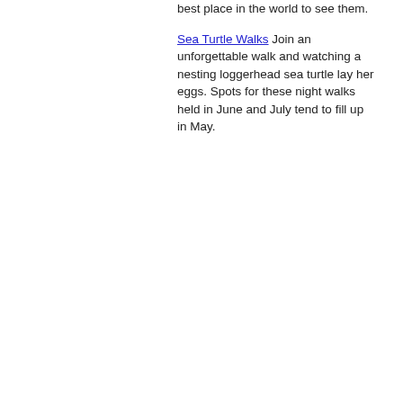best place in the world to see them.
Sea Turtle Walks Join an unforgettable walk and watching a nesting loggerhead sea turtle lay her eggs. Spots for these night walks held in June and July tend to fill up in May.